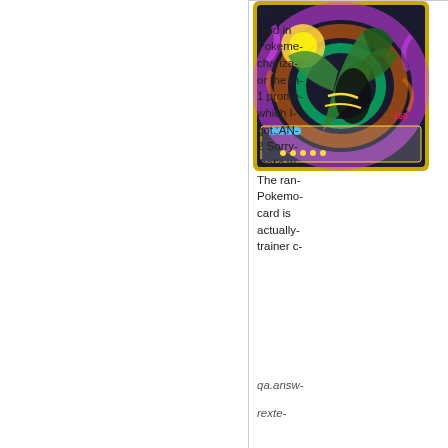[Figure (photo): A Pokémon trading card featuring a colorful, holographic design with a dragon/legendary Pokémon (possibly Rayquaza) in green and black against a vibrant multicolored background with gold borders.]
The ra- card in Pokeme- chariza- or the m- 1 prome- which I- got. AN- 2 Sorry- that's w- The ran- Pokemo- card is actually- trainer c-
qa.answ-
rexte-